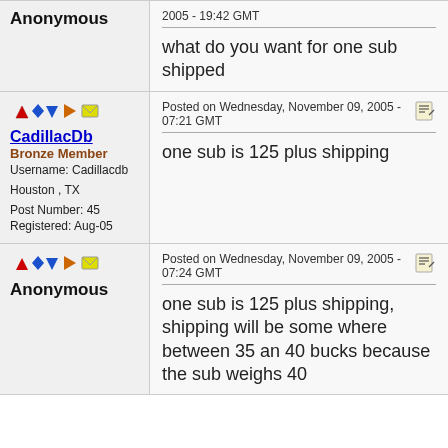Anonymous
2005 - 19:42 GMT
what do you want for one sub shipped
CadillacDb
Bronze Member
Username: Cadillacdb
Houston , TX
Post Number: 45
Registered: Aug-05
Posted on Wednesday, November 09, 2005 - 07:21 GMT
one sub is 125 plus shipping
Anonymous
Posted on Wednesday, November 09, 2005 - 07:24 GMT
one sub is 125 plus shipping, shipping will be some where between 35 an 40 bucks because the sub weighs 40